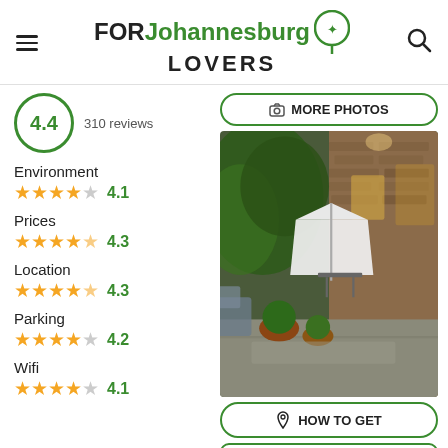FOR Johannesburg LOVERS
4.4 · 310 reviews
Environment ★★★★☆ 4.1
Prices ★★★★½ 4.3
Location ★★★★½ 4.3
Parking ★★★★☆ 4.2
Wifi ★★★★☆ 4.1
[Figure (photo): Outdoor patio area of a venue in Johannesburg, showing brick building facade, potted plants, white umbrella canopy, and seating area at dusk.]